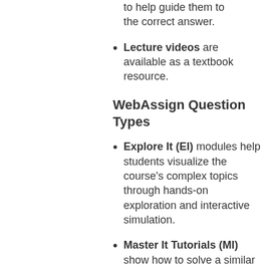to help guide them to the correct answer.
Lecture videos are available as a textbook resource.
WebAssign Question Types
Explore It (EI) modules help students visualize the course's complex topics through hands-on exploration and interactive simulation.
Master It Tutorials (MI) show how to solve a similar problem in multiple